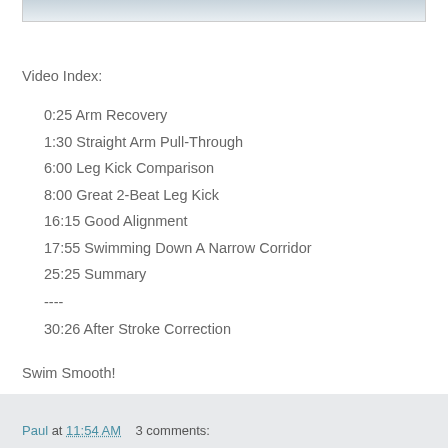[Figure (photo): Partial view of a swimming video thumbnail at the top of the page]
Video Index:
0:25 Arm Recovery
1:30 Straight Arm Pull-Through
6:00 Leg Kick Comparison
8:00 Great 2-Beat Leg Kick
16:15 Good Alignment
17:55 Swimming Down A Narrow Corridor
25:25 Summary
----
30:26 After Stroke Correction
Swim Smooth!
Paul at 11:54 AM    3 comments: